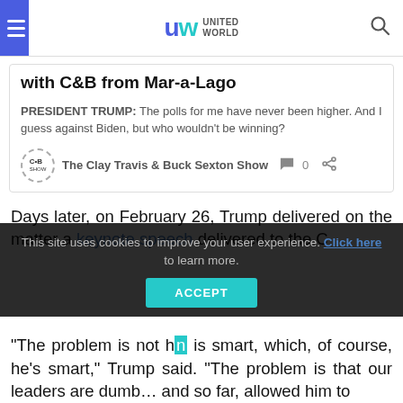United World — site header with hamburger menu and search icon
with C&B from Mar-a-Lago
PRESIDENT TRUMP: The polls for me have never been higher. And I guess against Biden, but who wouldn't be winning?
The Clay Travis & Buck Sexton Show  0
Days later, on February 26, Trump delivered on the matter a keynote speech delivered to the C
This site uses cookies to improve your user experience. Click here to learn more.
"The problem is not h  n is smart, which, of course, he's smart," Trump said. "The problem is that our leaders are dumb... and so far, allowed him to